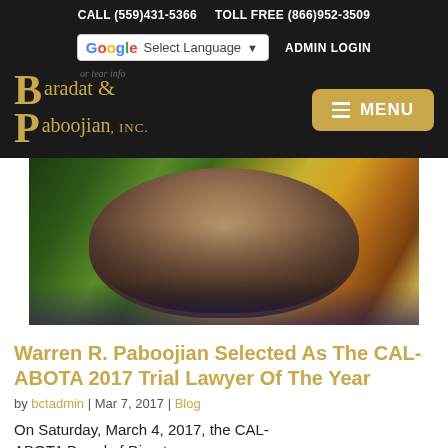CALL (559)431-5366   TOLL FREE (866)952-3509
[Figure (logo): Google Translate selector and Admin Login in navigation bar]
[Figure (logo): Baradat & Paboojian, Inc. law firm logo with golden serif letters and hamburger menu button]
[Figure (photo): Professional headshot of Warren R. Paboojian, a middle-aged man in a suit, against a colorful floral background]
Warren R. Paboojian Selected As The CAL-ABOTA 2017 Trial Lawyer Of The Year
by bctadmin | Mar 7, 2017 | Blog
On Saturday, March 4, 2017, the CAL-ABOTA Board of Directors...